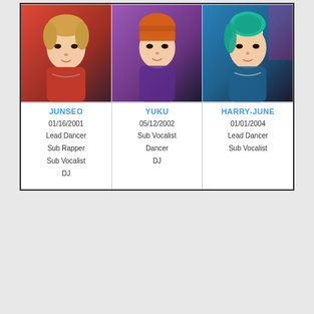[Figure (infographic): Three K-pop group member profile cards displayed in a bordered box. Each card shows a photo of the member and their name, date of birth, and roles.]